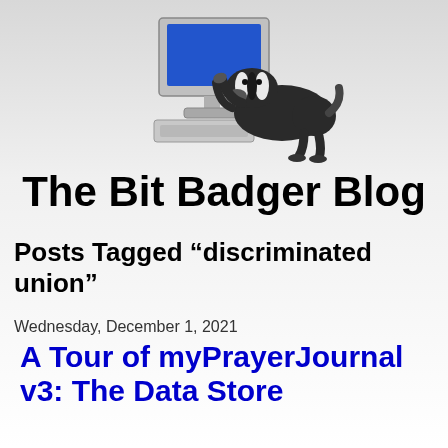[Figure (illustration): A badger using a desktop computer — the badger leans forward touching the blue monitor screen while a keyboard sits in front]
The Bit Badger Blog
Posts Tagged “discriminated union”
Wednesday, December 1, 2021
A Tour of myPrayerJournal v3: The Data Store